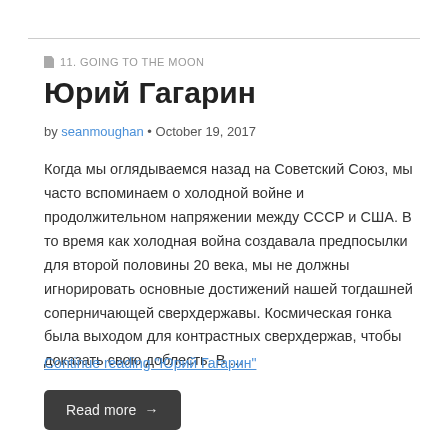11. GOING TO THE MOON
Юрий Гагарин
by seanmoughan • October 19, 2017
Когда мы оглядываемся назад на Советский Союз, мы часто вспоминаем о холодной войне и продолжительном напряжении между СССР и США. В то время как холодная война создавала предпосылки для второй половины 20 века, мы не должны игнорировать основные достижений нашей тогдашней соперничающей сверхдержавы. Космическая гонка была выходом для контрастных сверхдержав, чтобы доказать свою доблесть. В …
Continue reading "Юрий Гагарин"
Read more →